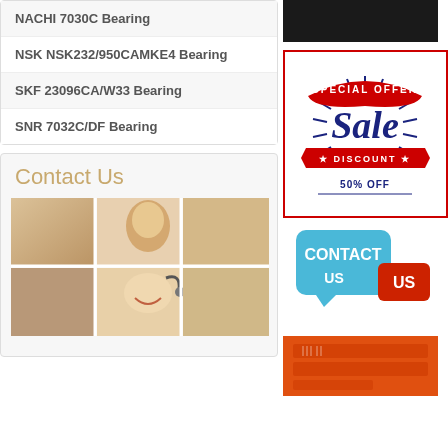NACHI 7030C Bearing
NSK NSK232/950CAMKE4 Bearing
SKF 23096CA/W33 Bearing
SNR 7032C/DF Bearing
Contact Us
[Figure (photo): Grid mosaic of a smiling woman wearing a headset, arranged in 2 rows of 3 panels]
[Figure (photo): Black banner image in right column top]
[Figure (infographic): Special Offer Sale Discount 50% OFF badge with red and navy blue design]
[Figure (infographic): Contact Us blue speech bubble graphic with red US label]
[Figure (photo): Orange/red background image with circuit board or product at bottom right]